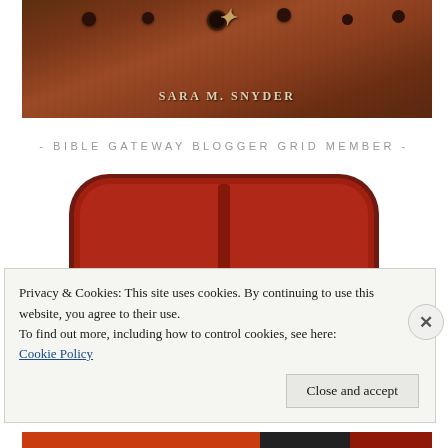[Figure (photo): Book cover showing leather texture with dark metal decorative elements and author name SARA M. SNYDER in light serif text]
- BIBLE GATEWAY BLOGGER GRID MEMBER -
[Figure (logo): Bible Gateway Blogger Grid logo - large dark red rounded shape (Bible icon) with white accent]
Privacy & Cookies: This site uses cookies. By continuing to use this website, you agree to their use.
To find out more, including how to control cookies, see here:
Cookie Policy
Close and accept